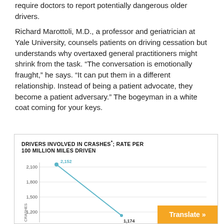require doctors to report potentially dangerous older drivers.
Richard Marottoli, M.D., a professor and geriatrician at Yale University, counsels patients on driving cessation but understands why overtaxed general practitioners might shrink from the task. “The conversation is emotionally fraught,” he says. “It can put them in a different relationship. Instead of being a patient advocate, they become a patient adversary.” The bogeyman in a white coat coming for your keys.
[Figure (line-chart): DRIVERS INVOLVED IN CRASHES, RATE PER 100 MILLION MILES DRIVEN]